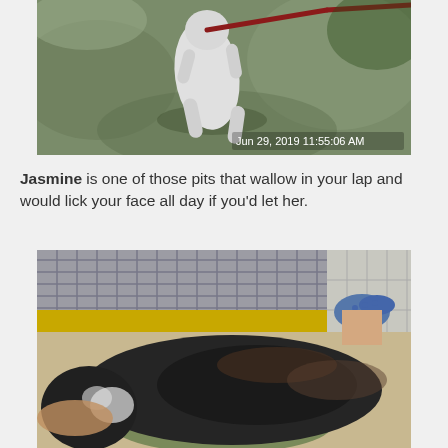[Figure (photo): Aerial/top-down photo of a white pit bull dog on a leash outdoors on grass, with timestamp Jun 29, 2019 11:55:06 AM]
Jasmine is one of those pits that wallow in your lap and would lick your face all day if you'd let her.
[Figure (photo): Photo of a dark-colored pit bull dog lying on a camouflage pillow/bed inside a kennel, with a person's foot in a blue croc shoe visible in the background near a chain-link fence with a yellow bar]